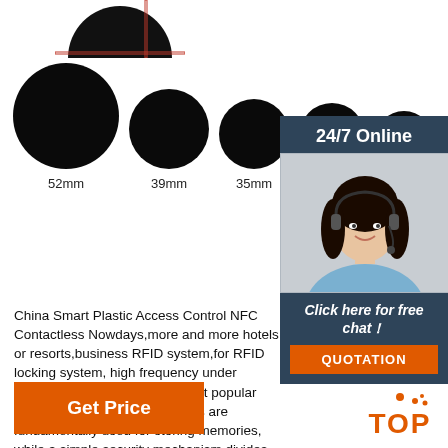[Figure (photo): Partial view of a black round NFC coin/disc at the top with a red bounding box outline, on white background]
[Figure (illustration): Five black circles of decreasing size labeled 52mm, 39mm, 35mm, 34mm, 30mm representing different RFID coin sizes]
[Figure (photo): Customer service representative sidebar: dark blue panel with '24/7 Online' header, photo of smiling woman with headset, 'Click here for free chat!' text, orange QUOTATION button]
China Smart Plastic Access Control NFC Contactless Nowdays,more and more hotels or resorts,business RFID system,for RFID locking system, high frequency under protocol ISO 14443A is the most popular choice. MIFARE Classic® cards are fundamentally used for storing memories, while a simple security mechanism divides the memories into segments.
[Figure (other): Orange 'Get Price' button at bottom left]
[Figure (other): Orange TOP button with dots at bottom right]